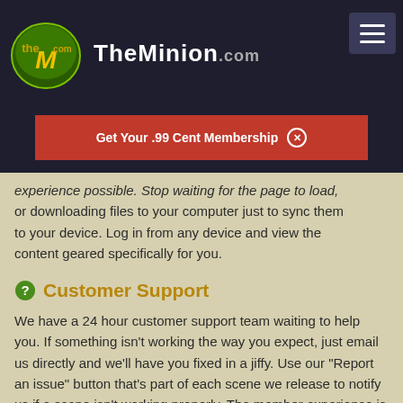TheMinion.com
Get Your .99 Cent Membership
experience possible. Stop waiting for the page to load, or downloading files to your computer just to sync them to your device. Log in from any device and view the content geared specifically for you.
Customer Support
We have a 24 hour customer support team waiting to help you. If something isn't working the way you expect, just email us directly and we'll have you fixed in a jiffy. Use our "Report an issue" button that's part of each scene we release to notify us if a scene isn't working properly. The member experience is one of our top priorities because we know if you're not a happy member, you're not going to be a member for long. Need some help right now? Click here to contact the Dogfart Customer Support Team.